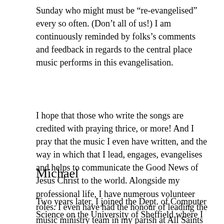Sunday who might must be “re-evangelised” every so often. (Don’t all of us!) I am continuously reminded by folks’s comments and feedback in regards to the central place music performs in this evangelisation.
I hope that those who write the songs are credited with praying thrice, or more! And I pray that the music I even have written, and the way in which that I lead, engages, evangelises and helps to communicate the Good News of Jesus Christ to the world. Alongside my professional life, I have numerous volunteer roles. I even have had the honour of leading the music ministry team in my parish at All Saints Albany Creek for over 30 years.
Michael
Two years later, I joined the Dept. of Computer Science on the University of Sheffield where I am at present